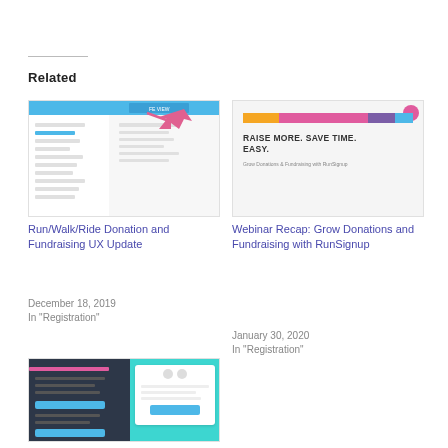Related
[Figure (screenshot): Screenshot of Run/Walk/Ride Donation and Fundraising UX page with a pink arrow pointing to a button]
Run/Walk/Ride Donation and Fundraising UX Update
December 18, 2019
In "Registration"
[Figure (screenshot): Webinar promotional image with colored bar and text: RAISE MORE. SAVE TIME. EASY. Grow Donations & Fundraising with RunSignup]
Webinar Recap: Grow Donations and Fundraising with RunSignup
January 30, 2020
In "Registration"
[Figure (screenshot): RunSignup Facebook integration screenshot showing dark sidebar and teal card overlay]
RunSignup – Facebook